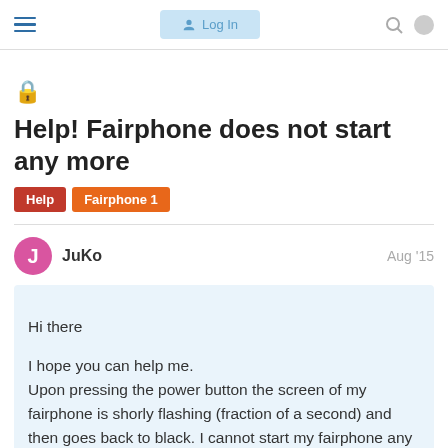≡  Log In
🔒 Help! Fairphone does not start any more
Help   Fairphone 1
JuKo   Aug '15
Hi there

I hope you can help me.
Upon pressing the power button the screen of my fairphone is shorly flashing (fraction of a second) and then goes back to black. I cannot start my fairphone any more. What I did before the problem appeared: pressing the update button which has been in my m... upper rim of my screen since july, give su...
1 / 12